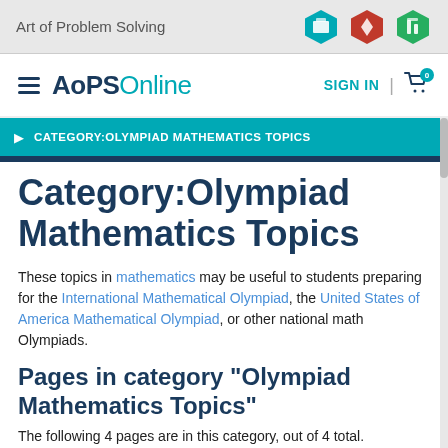Art of Problem Solving
AoPS Online  SIGN IN
CATEGORY:OLYMPIAD MATHEMATICS TOPICS
Category:Olympiad Mathematics Topics
These topics in mathematics may be useful to students preparing for the International Mathematical Olympiad, the United States of America Mathematical Olympiad, or other national math Olympiads.
Pages in category "Olympiad Mathematics Topics"
The following 4 pages are in this category, out of 4 total.